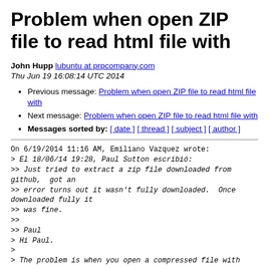Problem when open ZIP file to read html file with
John Hupp lubuntu at prpcompany.com
Thu Jun 19 16:08:14 UTC 2014
Previous message: Problem when open ZIP file to read html file with
Next message: Problem when open ZIP file to read html file with
Messages sorted by: [ date ] [ thread ] [ subject ] [ author ]
On 6/19/2014 11:16 AM, Emiliano Vazquez wrote:
> El 18/06/14 19:28, Paul Sutton escribió:
>> Just tried to extract a zip file downloaded from github,  got an
>> error turns out it wasn't fully downloaded.  Once downloaded fully it
>> was fine.
>>
>> Paul
> Hi Paul.
>
> The problem is when you open a compressed file with